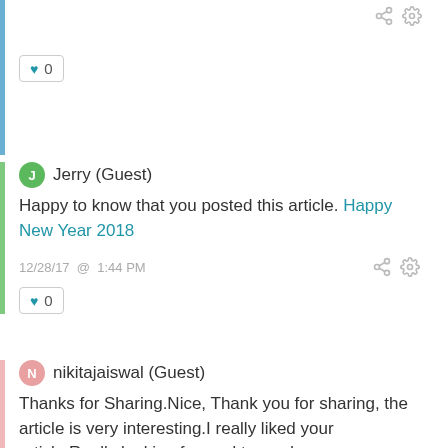♥ 0 (like button for first comment)
J Jerry (Guest)
Happy to know that you posted this article. Happy New Year 2018
12/28/17 @ 1:44 PM
♥ 0 (like button for Jerry comment)
N nikitajaiswal (Guest)
Thanks for Sharing.Nice, Thank you for sharing, the article is very interesting.I really liked your article.Really looking forward to read more. <a href="http://sdbloggers.com/">Technology updates</a>